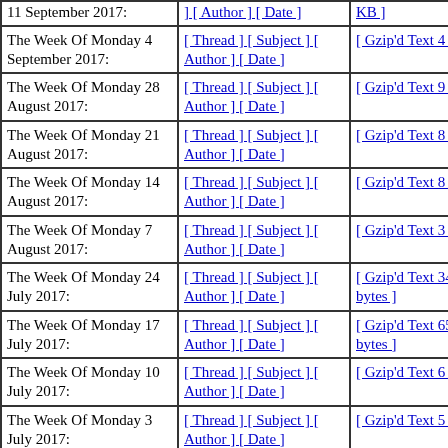| 11 September 2017: | [ Author ] [ Date ] | KB ] |
| The Week Of Monday 4 September 2017: | [ Thread ] [ Subject ] [ Author ] [ Date ] | [ Gzip'd Text 4 KB ] |
| The Week Of Monday 28 August 2017: | [ Thread ] [ Subject ] [ Author ] [ Date ] | [ Gzip'd Text 9 KB ] |
| The Week Of Monday 21 August 2017: | [ Thread ] [ Subject ] [ Author ] [ Date ] | [ Gzip'd Text 8 KB ] |
| The Week Of Monday 14 August 2017: | [ Thread ] [ Subject ] [ Author ] [ Date ] | [ Gzip'd Text 8 KB ] |
| The Week Of Monday 7 August 2017: | [ Thread ] [ Subject ] [ Author ] [ Date ] | [ Gzip'd Text 3 KB ] |
| The Week Of Monday 24 July 2017: | [ Thread ] [ Subject ] [ Author ] [ Date ] | [ Gzip'd Text 340 bytes ] |
| The Week Of Monday 17 July 2017: | [ Thread ] [ Subject ] [ Author ] [ Date ] | [ Gzip'd Text 658 bytes ] |
| The Week Of Monday 10 July 2017: | [ Thread ] [ Subject ] [ Author ] [ Date ] | [ Gzip'd Text 6 KB ] |
| The Week Of Monday 3 July 2017: | [ Thread ] [ Subject ] [ Author ] [ Date ] | [ Gzip'd Text 5 KB ] |
| The Week Of Monday 26 June 2017: | [ Thread ] [ Subject ] [ Author ] [ Date ] | [ Gzip'd Text 635 bytes ] |